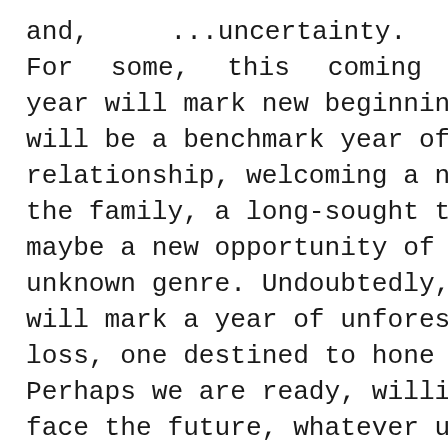and, …uncertainty. For some, this coming year will mark new beginnings, perhaps it will be a benchmark year of a new relationship, welcoming a new member to the family, a long-sought trip, or a new job, maybe a new opportunity of a completely unknown genre. Undoubtedly, for others, it will mark a year of unforeseen challenge or loss, one destined to hone our character. Perhaps we are ready, willing and able to face the future, whatever unfolds. Perhaps, maybe not so much–maybe some of us have not sufficiently dealt with last year yet.

Maybe the next story, which...